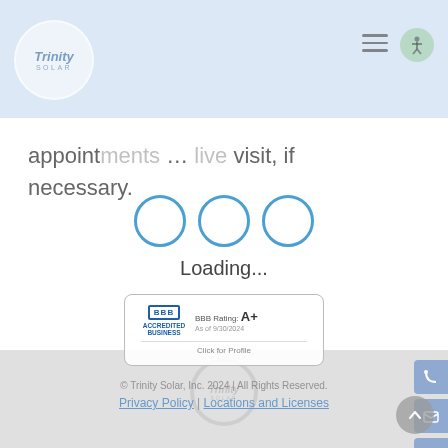Trinity Solar logo header with navigation icons
appointments … live visit, if necessary.
[Figure (illustration): Loading spinner with three blue circles and text 'Loading...' overlaid on Trinity Solar watermark logo in gray footer area]
[Figure (illustration): BBB Accredited Business badge showing BBB Rating: A+]
© Trinity Solar, Inc. 2024 | All Rights Reserved. Privacy Policy | Locations and Licenses